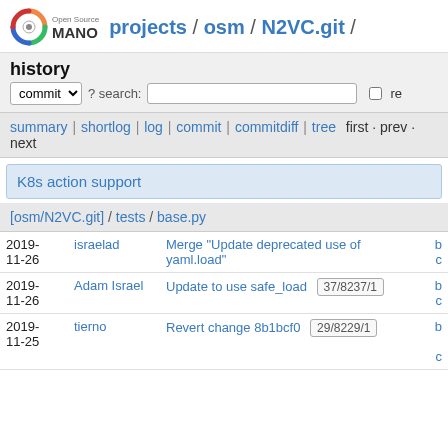Open Source MANO projects / osm / N2VC.git /
history
commit ? search: re
summary | shortlog | log | commit | commitdiff | tree first · prev · next
K8s action support
[osm/N2VC.git] / tests / base.py
| Date | Author | Message | Links |
| --- | --- | --- | --- |
| 2019-11-26 | israelad | Merge "Update deprecated use of yaml.load" | b
c |
| 2019-11-26 | Adam Israel | Update to use safe_load  37/8237/1 | b
c |
| 2019-11-25 | tierno | Revert change 8b1bcf0  29/8229/1 | b
c |